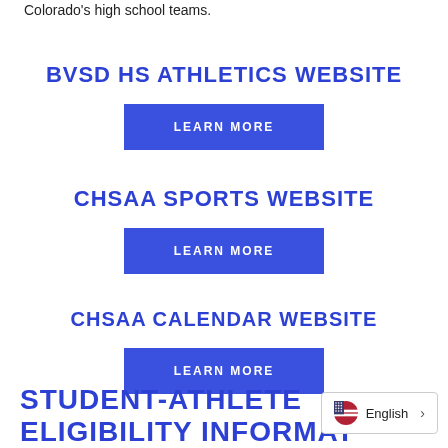Colorado's high school teams.
BVSD HS ATHLETICS WEBSITE
LEARN MORE
CHSAA SPORTS WEBSITE
LEARN MORE
CHSAA CALENDAR WEBSITE
LEARN MORE
STUDENT-ATHLETE ELIGIBILITY INFORMAT…